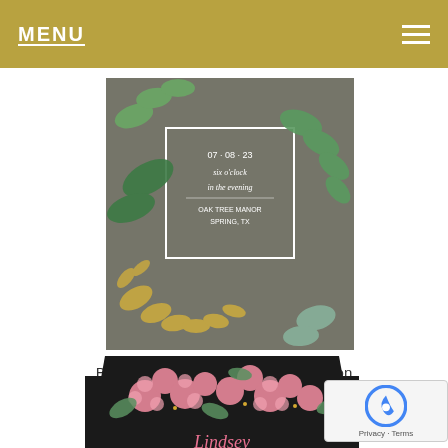MENU
[Figure (photo): Botanical Grandeur Wedding Invitation card with green and gold botanical leaves on gray background, showing save the date details]
Botanical Grandeur Wedding Invitation
Buy product
[Figure (photo): Dark wedding invitation with pink floral design and the name Lindsey in pink script text at the bottom]